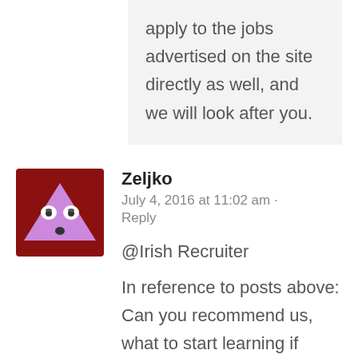apply to the jobs advertised on the site directly as well, and we will look after you.
Zeljko
July 4, 2016 at 11:02 am · Reply
@Irish Recruiter

In reference to posts above:
Can you recommend us, what to start learning if